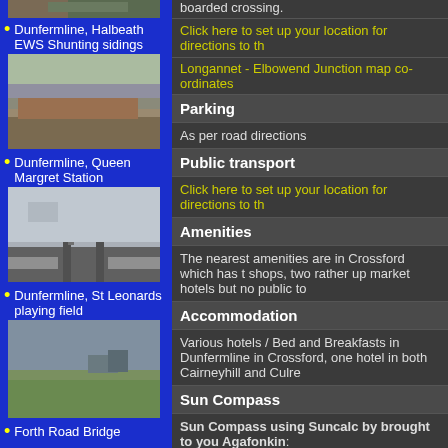[Figure (photo): Top of sidebar showing partial photo of railway/location scene]
Dunfermline, Halbeath EWS Shunting sidings
[Figure (photo): Photo of Dunfermline, Halbeath EWS Shunting sidings - railway sidings with freight wagons]
Dunfermline, Queen Margret Station
[Figure (photo): Photo of Dunfermline, Queen Margret Station - railway platform and tracks]
Dunfermline, St Leonards playing field
[Figure (photo): Photo of Dunfermline, St Leonards playing field - green field with cloudy sky]
Forth Road Bridge
boarded crossing.
Click here to set up your location for directions to th
Longannet - Elbowend Junction map co-ordinates
Parking
As per road directions
Public transport
Click here to set up your location for directions to th
Amenities
The nearest amenities are in Crossford which has t shops, two rather up market hotels but no public to
Accommodation
Various hotels / Bed and Breakfasts in Dunfermline in Crossford, one hotel in both Cairneyhill and Culre
Sun Compass
Sun Compass using Suncalc by brought to you Agafonkin: It might be necessary to adjust the time to suit your should open with the current day.
Longannet - Elbowend Junction